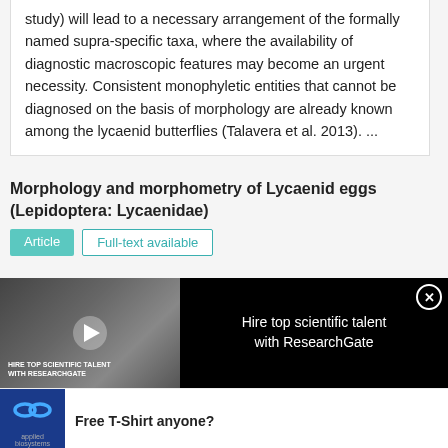study) will lead to a necessary arrangement of the formally named supra-specific taxa, where the availability of diagnostic macroscopic features may become an urgent necessity. Consistent monophyletic entities that cannot be diagnosed on the basis of morphology are already known among the lycaenid butterflies (Talavera et al. 2013). ...
Morphology and morphometry of Lycaenid eggs (Lepidoptera: Lycaenidae)
Article | Full-text available
[Figure (photo): Advertisement banner showing scientists in lab coats taking a selfie with text overlay 'HIRE TOP SCIENTIFIC TALENT WITH RESEARCHGATE' and a play button. Right side shows text 'Hire top scientific talent with ResearchGate' with a close button.]
[Figure (logo): Applied Biosystems logo with infinity symbol on blue background, followed by advertisement text 'Free T-Shirt anyone?']